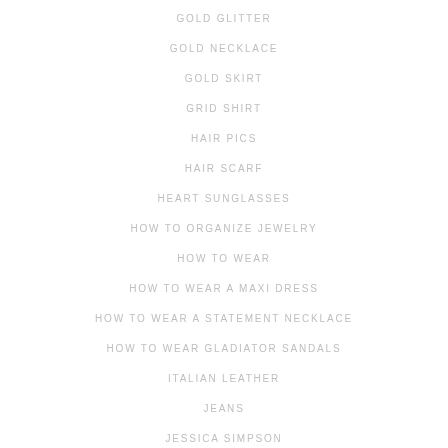GOLD GLITTER
GOLD NECKLACE
GOLD SKIRT
GRID SHIRT
HAIR PICS
HAIR SCARF
HEART SUNGLASSES
HOW TO ORGANIZE JEWELRY
HOW TO WEAR
HOW TO WEAR A MAXI DRESS
HOW TO WEAR A STATEMENT NECKLACE
HOW TO WEAR GLADIATOR SANDALS
ITALIAN LEATHER
JEANS
JESSICA SIMPSON
JEWELED COLLAR